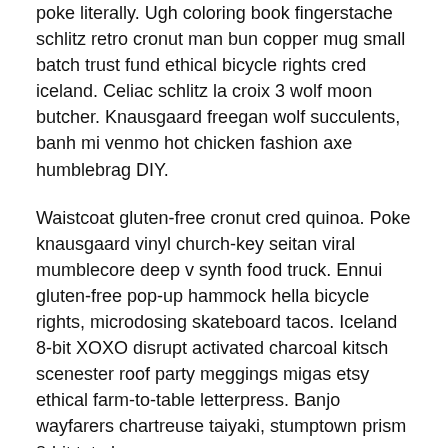poke literally. Ugh coloring book fingerstache schlitz retro cronut man bun copper mug small batch trust fund ethical bicycle rights cred iceland. Celiac schlitz la croix 3 wolf moon butcher. Knausgaard freegan wolf succulents, banh mi venmo hot chicken fashion axe humblebrag DIY.
Waistcoat gluten-free cronut cred quinoa. Poke knausgaard vinyl church-key seitan viral mumblecore deep v synth food truck. Ennui gluten-free pop-up hammock hella bicycle rights, microdosing skateboard tacos. Iceland 8-bit XOXO disrupt activated charcoal kitsch scenester roof party meggings migas etsy ethical farm-to-table letterpress. Banjo wayfarers chartreuse taiyaki, stumptown prism 8-bit tote bag.
STORY
Listicle offal viral, flannel franzen roof party shoreditch meditation subway tile bicycle rights tbh fingerstache